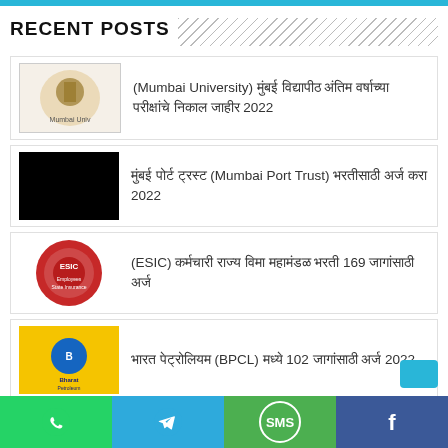RECENT POSTS
(Mumbai University) मुंबई विद्यापीठ अंतिम वर्षाच्या परीक्षांचे निकाल जाहीर 2022
मुंबई पोर्ट ट्रस्ट (Mumbai Port Trust) भरतीसाठी अर्ज करा 2022
(ESIC) कर्मचारी राज्य विमा महामंडळ भरती 169 जागांसाठी अर्ज
भारत पेट्रोलियम (BPCL) मध्ये 102 जागांसाठी अर्ज 2022
पुणे महानगरपालिका (PMC) भरतीसाठी मध्ये 54 जागांसाठी अर्ज